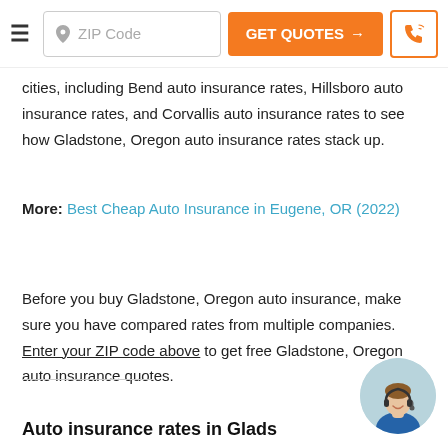ZIP Code | GET QUOTES → | [phone icon]
cities, including Bend auto insurance rates, Hillsboro auto insurance rates, and Corvallis auto insurance rates to see how Gladstone, Oregon auto insurance rates stack up.
More: Best Cheap Auto Insurance in Eugene, OR (2022)
Before you buy Gladstone, Oregon auto insurance, make sure you have compared rates from multiple companies. Enter your ZIP code above to get free Gladstone, Oregon auto insurance quotes.